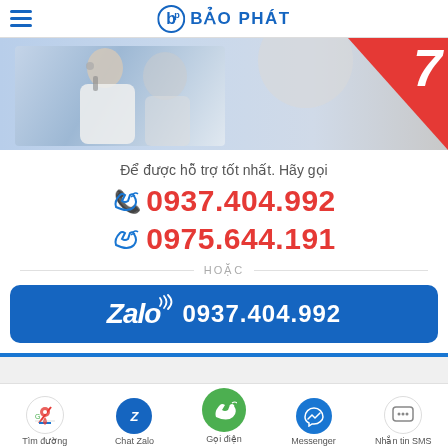BẢO PHÁT
[Figure (photo): Banner image showing a customer service person with headset, blurred background, with a red diagonal section on the right showing the number 7]
Để được hỗ trợ tốt nhất. Hãy gọi
0937.404.992
0975.644.191
HOẶC
Zalo 0937.404.992
Tìm đường | Chat Zalo | Gọi điện | Messenger | Nhắn tin SMS